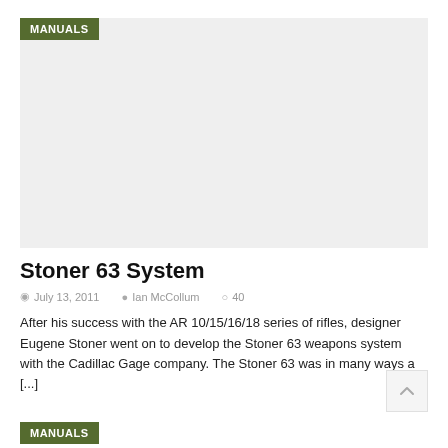[Figure (photo): Gray placeholder image area with MANUALS badge in olive green at top-left]
Stoner 63 System
July 13, 2011  Ian McCollum  40
After his success with the AR 10/15/16/18 series of rifles, designer Eugene Stoner went on to develop the Stoner 63 weapons system with the Cadillac Gage company. The Stoner 63 was in many ways a [...]